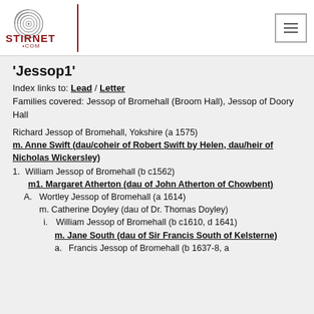Stirnet.com logo and navigation
'Jessop1'
Index links to: Lead / Letter
Families covered: Jessop of Bromehall (Broom Hall), Jessop of Doory Hall
Richard Jessop of Bromehall, Yokshire (a 1575)
m. Anne Swift (dau/coheir of Robert Swift by Helen, dau/heir of Nicholas Wickersley)
1. William Jessop of Bromehall (b c1562)
m1. Margaret Atherton (dau of John Atherton of Chowbent)
A. Wortley Jessop of Bromehall (a 1614)
m. Catherine Doyley (dau of Dr. Thomas Doyley)
i. William Jessop of Bromehall (b c1610, d 1641)
m. Jane South (dau of Sir Francis South of Kelsterne)
a. Francis Jessop of Bromehall (b 1637-8, a